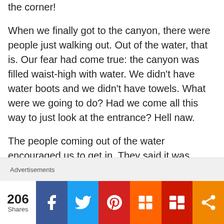the corner!
When we finally got to the canyon, there were people just walking out. Out of the water, that is. Our fear had come true: the canyon was filled waist-high with water. We didn't have water boots and we didn't have towels. What were we going to do? Had we come all this way to just look at the entrance? Hell naw.
The people coming out of the water encouraged us to get in. They said it was freezing and the canyon was difficult to navigate, but we had to
Advertisements
206 Shares